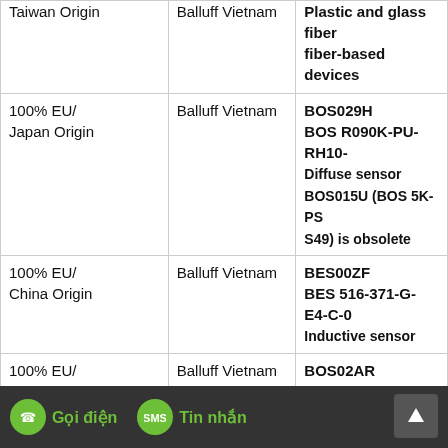| Origin | Manufacturer | Product |
| --- | --- | --- |
| Taiwan Origin | Balluff Vietnam | Plastic and glass fiber
fiber-based devices |
| 100% EU/
Japan Origin | Balluff Vietnam | BOS029H
BOS R090K-PU-RH10-
Diffuse sensor
BOS015U (BOS 5K-PS
S49) is obsolete |
| 100% EU/
China Origin | Balluff Vietnam | BES00ZF
BES 516-371-G-E4-C-0
Inductive sensor |
| 100% EU/
Japan Origin | Balluff Vietnam | BOS02AR
BOS R090K-PU-RX10-
Through-beam sensor
BOS0126 (BOS 5K-PS
S75) is obsolete |
| 100% EU/
Japan Origin | Balluff Vietnam | BOS029U
BOS R090K-PU-011-S
Di...
BOS01e... |